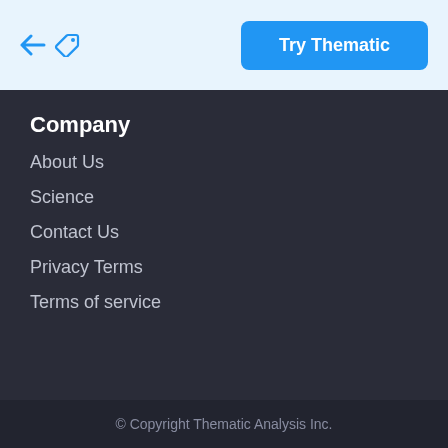Try Thematic
Company
About Us
Science
Contact Us
Privacy Terms
Terms of service
© Copyright Thematic Analysis Inc.